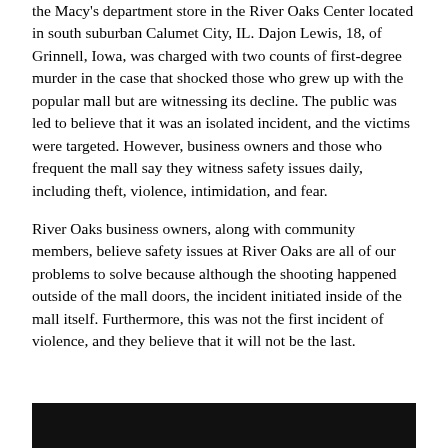the Macy's department store in the River Oaks Center located in south suburban Calumet City, IL. Dajon Lewis, 18, of Grinnell, Iowa, was charged with two counts of first-degree murder in the case that shocked those who grew up with the popular mall but are witnessing its decline. The public was led to believe that it was an isolated incident, and the victims were targeted. However, business owners and those who frequent the mall say they witness safety issues daily, including theft, violence, intimidation, and fear.
River Oaks business owners, along with community members, believe safety issues at River Oaks are all of our problems to solve because although the shooting happened outside of the mall doors, the incident initiated inside of the mall itself. Furthermore, this was not the first incident of violence, and they believe that it will not be the last.
[Figure (photo): Dark/black photograph, partially visible at the bottom of the page]